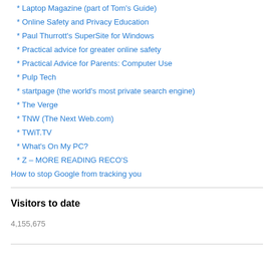* Laptop Magazine (part of Tom's Guide)
* Online Safety and Privacy Education
* Paul Thurrott's SuperSite for Windows
* Practical advice for greater online safety
* Practical Advice for Parents: Computer Use
* Pulp Tech
* startpage (the world's most private search engine)
* The Verge
* TNW (The Next Web.com)
* TWiT.TV
* What's On My PC?
* Z – MORE READING RECO'S
How to stop Google from tracking you
Visitors to date
4,155,675